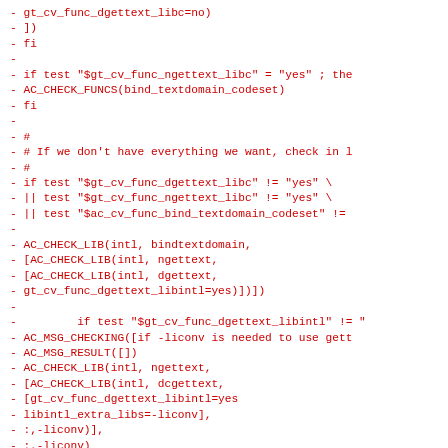- gt_cv_func_dgettext_libc=no)
- ])
- fi
-
- if test "$gt_cv_func_ngettext_libc" = "yes" ; the
- AC_CHECK_FUNCS(bind_textdomain_codeset)
- fi
-
- #
- # If we don't have everything we want, check in l
- #
- if test "$gt_cv_func_dgettext_libc" != "yes" \
- || test "$gt_cv_func_ngettext_libc" != "yes" \
- || test "$ac_cv_func_bind_textdomain_codeset" !=
-
- AC_CHECK_LIB(intl, bindtextdomain,
- [AC_CHECK_LIB(intl, ngettext,
- [AC_CHECK_LIB(intl, dgettext,
- gt_cv_func_dgettext_libintl=yes)])])
-
-         if test "$gt_cv_func_dgettext_libintl" != "
- AC_MSG_CHECKING([if -liconv is needed to use gett
- AC_MSG_RESULT([])
- AC_CHECK_LIB(intl, ngettext,
- [AC_CHECK_LIB(intl, dcgettext,
- [gt_cv_func_dgettext_libintl=yes
- libintl_extra_libs=-liconv],
- :,-liconv)],
- :,-liconv)
- fi